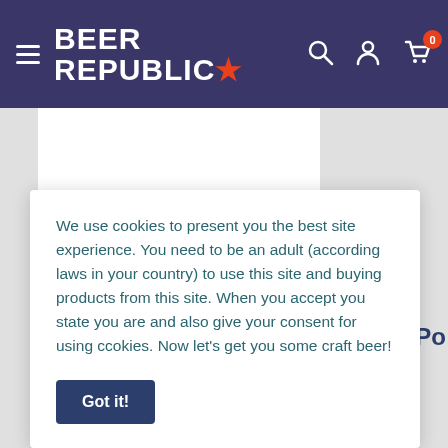Beer Republic - navigation header with logo, hamburger menu, search, account, and cart icons
[Figure (screenshot): White content panels and grey background area below the navigation header]
We use cookies to present you the best site experience. You need to be an adult (according laws in your country) to use this site and buying products from this site. When you accept you state you are and also give your consent for using ccokies. Now let's get you some craft beer!
Got it!